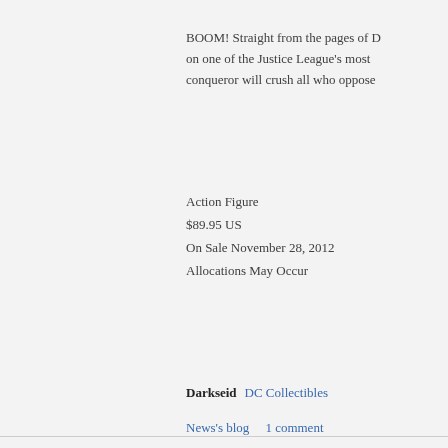BOOM! Straight from the pages of D on one of the Justice League's most conqueror will crush all who oppose
Action Figure
$89.95 US
On Sale November 28, 2012
Allocations May Occur
Darkseid   DC Collectibles
News's blog   1 comment
All images, format, content, and design are pages may be reproduced without express names and images are